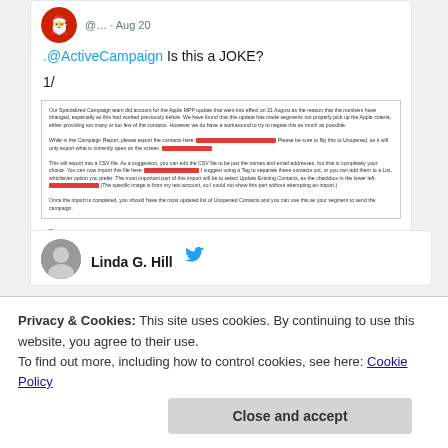@... · Aug 20
.@ActiveCampaign Is this a JOKE?
1/
[Figure (screenshot): Screenshot of an email from ActiveCampaign support with redacted links, providing instructions on exporting contacts to a CSV file and re-importing them.]
5 replies, 9 likes
Linda G. Hill
Privacy & Cookies: This site uses cookies. By continuing to use this website, you agree to their use.
To find out more, including how to control cookies, see here: Cookie Policy
Close and accept